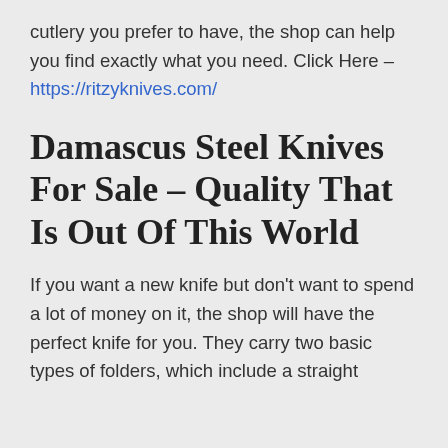cutlery you prefer to have, the shop can help you find exactly what you need. Click Here – https://ritzyknives.com/
Damascus Steel Knives For Sale – Quality That Is Out Of This World
If you want a new knife but don't want to spend a lot of money on it, the shop will have the perfect knife for you. They carry two basic types of folders, which include a straight